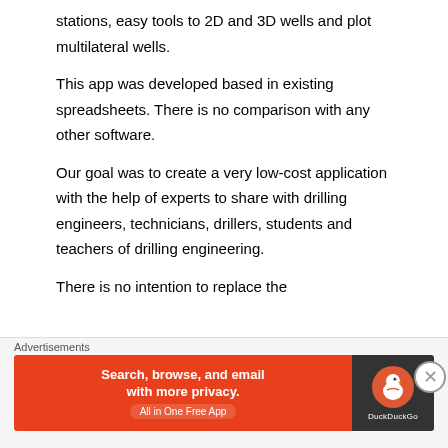stations, easy tools to 2D and 3D wells and plot multilateral wells.
This app was developed based in existing spreadsheets. There is no comparison with any other software.
Our goal was to create a very low-cost application with the help of experts to share with drilling engineers, technicians, drillers, students and teachers of drilling engineering.
There is no intention to replace the
[Figure (screenshot): DuckDuckGo advertisement banner: orange section with white bold text 'Search, browse, and email with more privacy. All in One Free App' and dark section with DuckDuckGo duck logo and brand name]